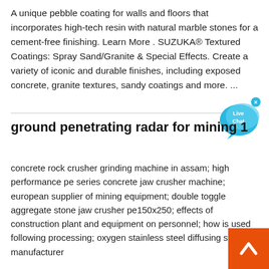A unique pebble coating for walls and floors that incorporates high-tech resin with natural marble stones for a cement-free finishing. Learn More . SUZUKA® Textured Coatings: Spray Sand/Granite & Special Effects. Create a variety of iconic and durable finishes, including exposed concrete, granite textures, sandy coatings and more. ...
[Figure (other): Live Chat speech bubble icon in cyan/blue color with 'Live Chat' text and a small X close button]
ground penetrating radar for mining 1
concrete rock crusher grinding machine in assam; high performance pe series concrete jaw crusher machine; european supplier of mining equipment; double toggle aggregate stone jaw crusher pe150x250; effects of construction plant and equipment on personnel; how is used following processing; oxygen stainless steel diffusing stone manufacturer
[Figure (other): Orange scroll-to-top button with white upward chevron arrow in bottom-right corner]